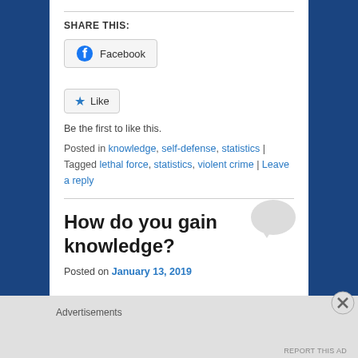SHARE THIS:
[Figure (other): Facebook share button with Facebook logo icon]
[Figure (other): Like button with blue star icon]
Be the first to like this.
Posted in knowledge, self-defense, statistics | Tagged lethal force, statistics, violent crime | Leave a reply
How do you gain knowledge?
Posted on January 13, 2019
Advertisements